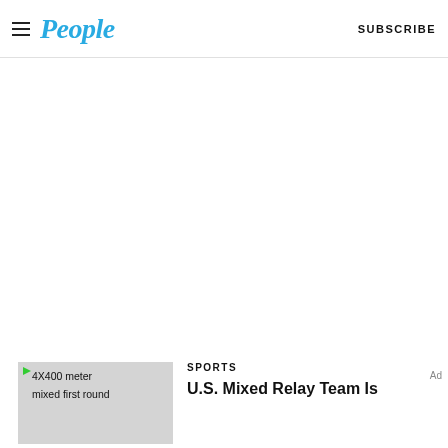People — SUBSCRIBE
[Figure (other): Large advertisement or blank white space area below the People magazine header navigation bar]
[Figure (photo): Thumbnail image for article about 4X400 meter mixed first round relay team, shown with gray placeholder background]
SPORTS
U.S. Mixed Relay Team Is